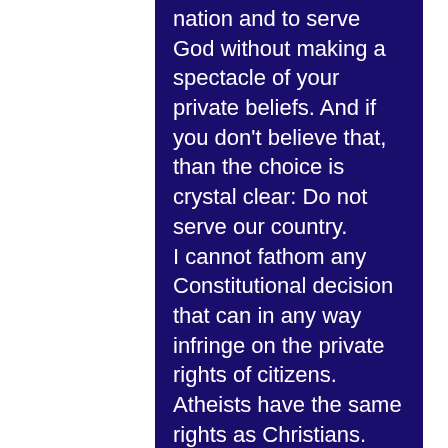nation and to serve God without making a spectacle of your private beliefs. And if you don't believe that, than the choice is crystal clear: Do not serve our country. I cannot fathom any Constitutional decision that can in any way infringe on the private rights of citizens. Atheists have the same rights as Christians. That's what we fought and died to protect. Our nation was founded in direct response to persecutions against religion.

Each citizen is granted the right to choose to live in any way they